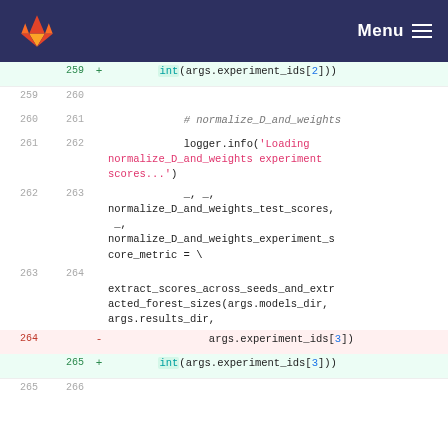GitLab Menu
Code diff showing lines 259-266 with added/removed lines for normalize_D_and_weights experiment scores extraction